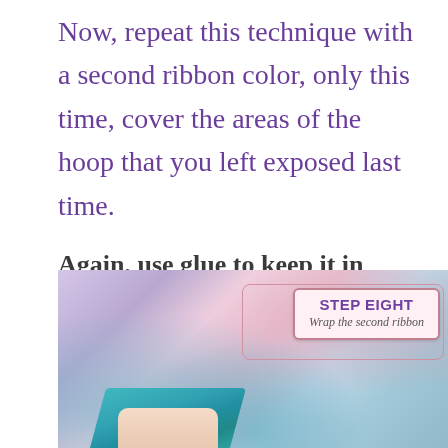Now, repeat this technique with a second ribbon color, only this time, cover the areas of the hoop that you left exposed last time.
Again, use glue to keep it in place as you wrap.
[Figure (photo): Photo of hands wrapping a teal ribbon around a hoop, with a decorative label overlay reading 'Step Eight - Wrap the second ribbon']